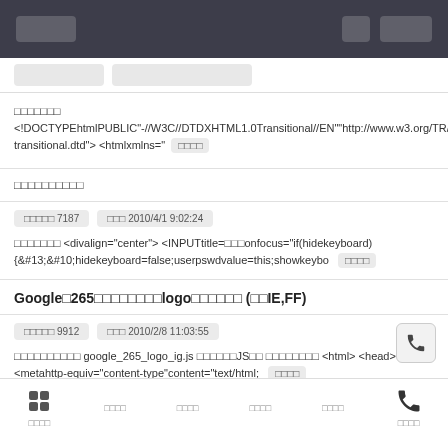□□□□  □□  □□□□
□□□□□□□ <!DOCTYPEhtmlPUBLIC"-//W3C//DTDXHTML1.0Transitional//EN""http://www.w3.org/TR/xhtml1/DTD/xhtml1-transitional.dtd"> <htmlxmlns="  □□□□
□□□□□□□□□□
□□□□□ 7187   □□□ 2010/4/1 9:02:24
□□□□□□□ <divalign="center"> <INPUTtitle=□□□onfocus="if(hidekeyboard){&#13;&#10;hidekeyboard=false;userpswdvalue=this;showkeybo   □□□□
Google□265□□□□□□□□logo□□□□□□ (□□IE,FF)
□□□□□ 9912   □□□ 2010/2/8 11:03:55
□□□□□□□□□□ google_265_logo_ig.js □□□□□□JS□□ □□□□□□□□ <html> <head> <metahttp-equiv="content-type"content="text/html;   □□□□
□□□□  □□□□  □□□□  □□□□  □□□□  □□□□